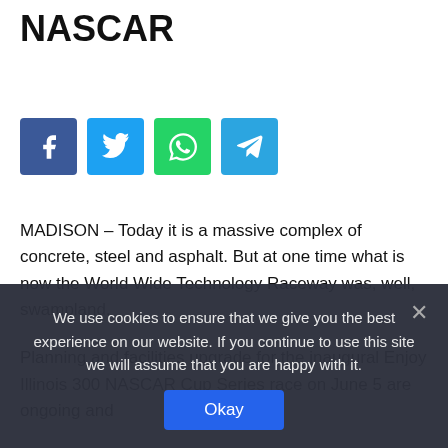NASCAR
[Figure (infographic): Row of four social media share buttons: Facebook (blue), Twitter (cyan), WhatsApp (green), Telegram (blue)]
MADISON – Today it is a massive complex of concrete, steel and asphalt. But at one time what is now the World Wide Technology Raceway was, well, swampland.
Planning and facilities upgrade for the inaugural Enjoy Illinois 300 NASCAR Cup Series race on June 5 are ongoing and
We use cookies to ensure that we give you the best experience on our website. If you continue to use this site we will assume that you are happy with it.